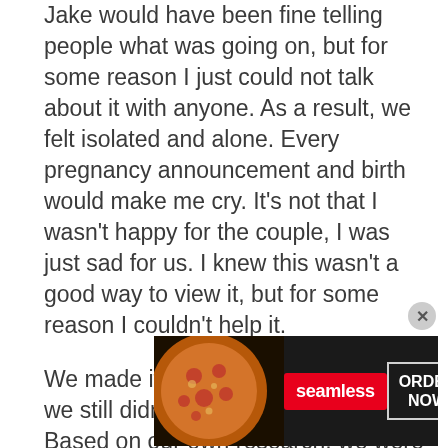Jake would have been fine telling people what was going on, but for some reason I just could not talk about it with anyone. As a result, we felt isolated and alone. Every pregnancy announcement and birth would make me cry. It's not that I wasn't happy for the couple, I was just sad for us. I knew this wasn't a good way to view it, but for some reason I couldn't help it.

We made it through the holidays, but we still didn't know what was 'wrong.' Based on our own research, we were hoping Jake had obstructive azoospermia, which could just
[Figure (other): Seamless food delivery advertisement banner with pizza image on the left, Seamless logo in red, and 'ORDER NOW' button]